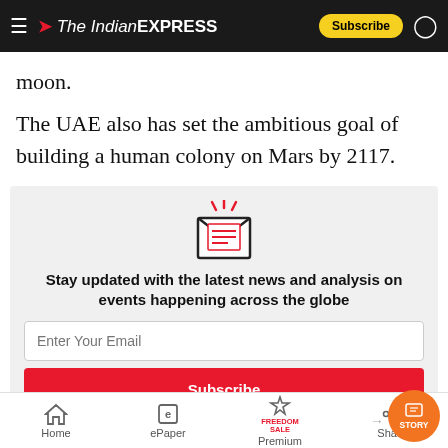The Indian EXPRESS
moon.
The UAE also has set the ambitious goal of building a human colony on Mars by 2117.
[Figure (illustration): Newsletter signup box with envelope icon, email input field, and subscribe button]
Home | ePaper | Premium | Share | STORY